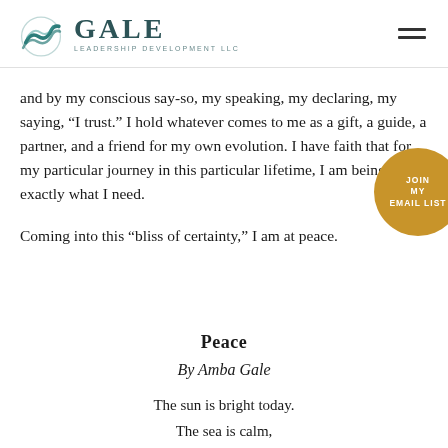GALE LEADERSHIP DEVELOPMENT LLC
and by my conscious say-so, my speaking, my declaring, my saying, “I trust.” I hold whatever comes to me as a gift, a guide, a partner, and a friend for my own evolution. I have faith that for my particular journey in this particular lifetime, I am being given exactly what I need.
Coming into this “bliss of certainty,” I am at peace.
Peace
By Amba Gale
The sun is bright today.
The sea is calm,